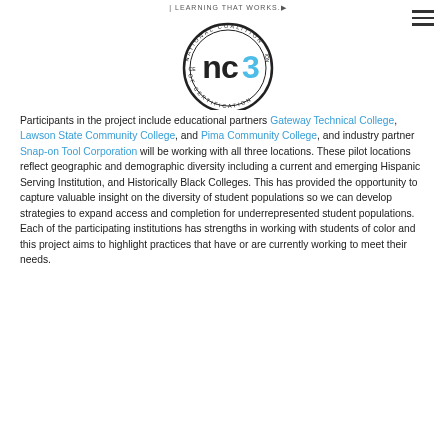[Figure (logo): NC3 (National Coalition of Certification Centers) circular seal logo with 'nc3' text and '| LEARNING THAT WORKS.' tagline]
Participants in the project include educational partners Gateway Technical College, Lawson State Community College, and Pima Community College, and industry partner Snap-on Tool Corporation will be working with all three locations. These pilot locations reflect geographic and demographic diversity including a current and emerging Hispanic Serving Institution, and Historically Black Colleges. This has provided the opportunity to capture valuable insight on the diversity of student populations so we can develop strategies to expand access and completion for underrepresented student populations. Each of the participating institutions has strengths in working with students of color and this project aims to highlight practices that have or are currently working to meet their needs.